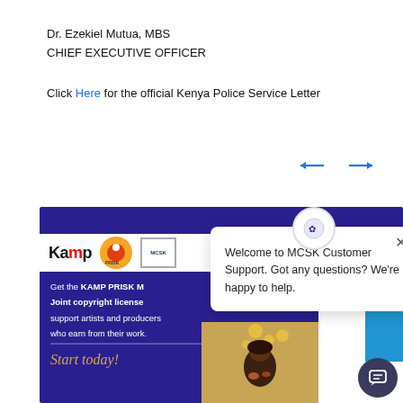Dr. Ezekiel Mutua, MBS
CHIEF EXECUTIVE OFFICER
Click Here for the official Kenya Police Service Letter
[Figure (screenshot): Screenshot of MCSK (Music Copyright Society of Kenya) website showing KAMP PRISK MCSK logos, a purple banner with text 'Get the KAMP PRISK M... Joint copyright license... support artists and producers who earn from their work. Start today!' and a chat support popup overlay saying 'Welcome to MCSK Customer Support. Got any questions? We're happy to help.']